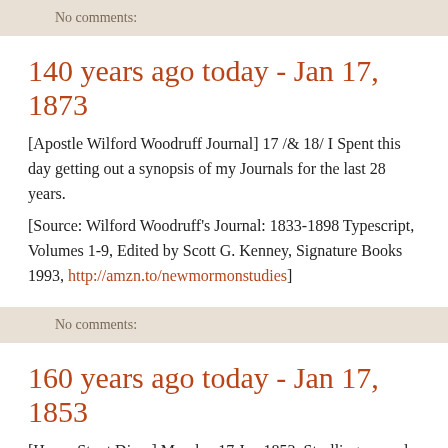No comments:
140 years ago today - Jan 17, 1873
[Apostle Wilford Woodruff Journal] 17 /& 18/ I Spent this day getting out a synopsis of my Journals for the last 28 years.
[Source: Wilford Woodruff's Journal: 1833-1898 Typescript, Volumes 1-9, Edited by Scott G. Kenney, Signature Books 1993, http://amzn.to/newmormonstudies]
No comments:
160 years ago today - Jan 17, 1853
[Hosea Stout Diary] Monday 17 Jan 1853. Strolling around the city viewing the wonderful State of society. The Stores, the groceries churches, gambling houses, Houses of ill fame, Hotels, Hawkers,